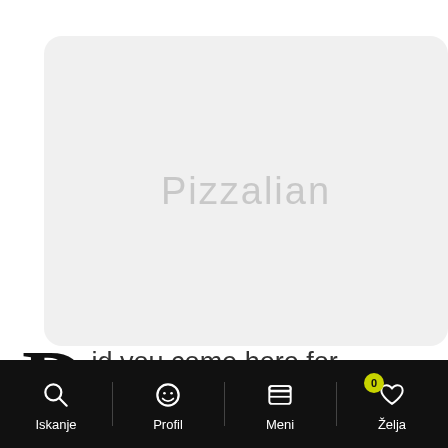[Figure (screenshot): Light gray rounded rectangle card with watermark text 'Pizzalian' in the center]
Did you come here for something in particular or just general Riker-bashing? And blowing
[Figure (screenshot): Mobile app bottom navigation bar with black background showing four tabs: Iskanje (search icon), Profil (smiley face icon), Meni (menu/burger icon), Želja (heart icon with badge showing 0)]